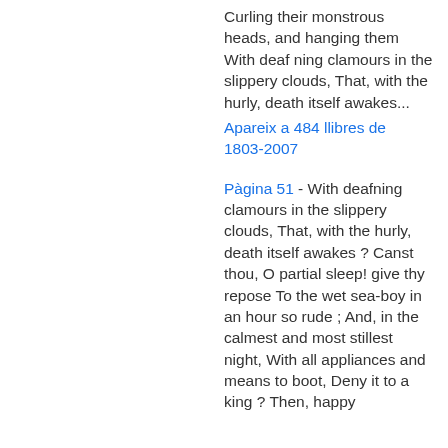Curling their monstrous heads, and hanging them With deaf ning clamours in the slippery clouds, That, with the hurly, death itself awakes...
Apareix a 484 llibres de 1803-2007
Pàgina 51 - With deafning clamours in the slippery clouds, That, with the hurly, death itself awakes ? Canst thou, O partial sleep! give thy repose To the wet sea-boy in an hour so rude ; And, in the calmest and most stillest night, With all appliances and means to boot, Deny it to a king ? Then, happy lowliest...